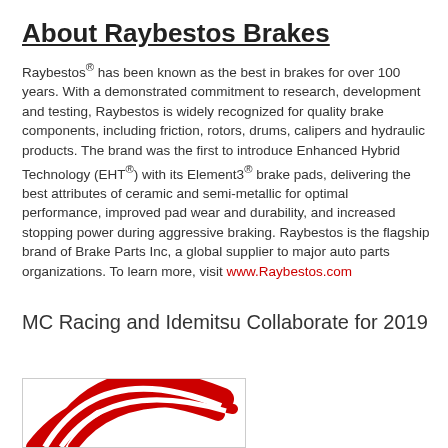About Raybestos Brakes
Raybestos® has been known as the best in brakes for over 100 years. With a demonstrated commitment to research, development and testing, Raybestos is widely recognized for quality brake components, including friction, rotors, drums, calipers and hydraulic products. The brand was the first to introduce Enhanced Hybrid Technology (EHT®) with its Element3® brake pads, delivering the best attributes of ceramic and semi-metallic for optimal performance, improved pad wear and durability, and increased stopping power during aggressive braking. Raybestos is the flagship brand of Brake Parts Inc, a global supplier to major auto parts organizations. To learn more, visit www.Raybestos.com
MC Racing and Idemitsu Collaborate for 2019
[Figure (logo): Partial red circular logo/emblem visible at bottom of page]